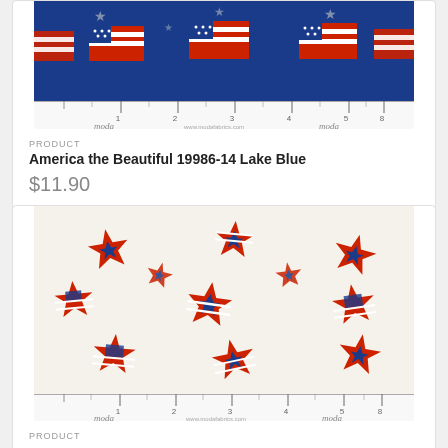[Figure (photo): Fabric swatch showing American flags pattern on blue background with ruler at bottom, Moda brand]
PRODUCT
America the Beautiful 19986-14 Lake Blue
$11.90
[Figure (photo): Fabric swatch showing patriotic stars in red, white and blue on cream background with ruler at bottom, Moda brand]
PRODUCT